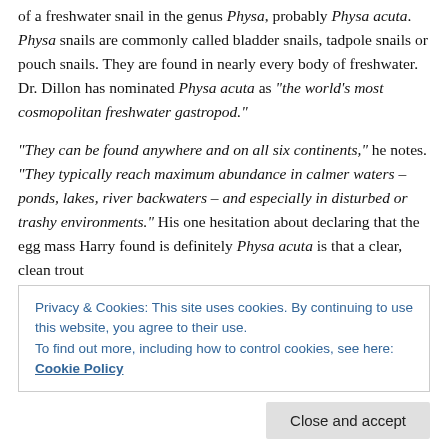of a freshwater snail in the genus Physa, probably Physa acuta. Physa snails are commonly called bladder snails, tadpole snails or pouch snails. They are found in nearly every body of freshwater. Dr. Dillon has nominated Physa acuta as "the world's most cosmopolitan freshwater gastropod."
"They can be found anywhere and on all six continents," he notes. "They typically reach maximum abundance in calmer waters – ponds, lakes, river backwaters – and especially in disturbed or trashy environments." His one hesitation about declaring that the egg mass Harry found is definitely Physa acuta is that a clear, clean trout
Privacy & Cookies: This site uses cookies. By continuing to use this website, you agree to their use.
To find out more, including how to control cookies, see here: Cookie Policy
Close and accept